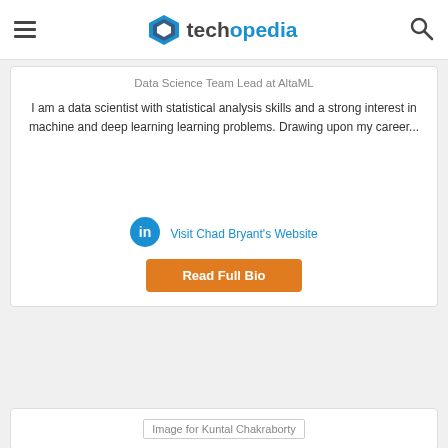techopedia
Data Science Team Lead at AltaML
I am a data scientist with statistical analysis skills and a strong interest in machine and deep learning learning problems. Drawing upon my career...
[Figure (logo): LinkedIn icon circle blue]
Visit Chad Bryant's Website
Read Full Bio
[Figure (photo): Image for Kuntal Chakraborty]